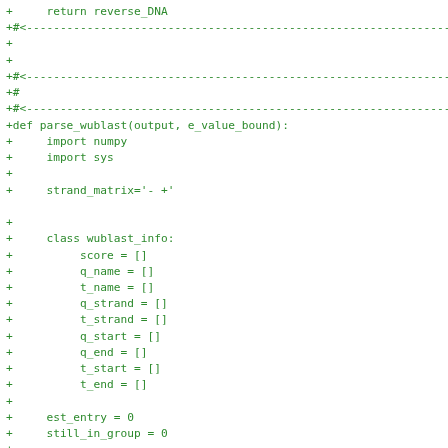+     return reverse_DNA
+#<---...
+
+
+#<---...
+#
+#<---...
+def parse_wublast(output, e_value_bound):
+     import numpy
+     import sys
+
+     strand_matrix='- +'
+
+     class wublast_info:
+          score = []
+          q_name = []
+          t_name = []
+          q_strand = []
+          t_strand = []
+          q_start = []
+          q_end = []
+          t_start = []
+          t_end = []
+
+     est_entry = 0
+     still_in_group = 0
+
+     est_wbi = wublast_info()
+     for line in output:
+          fields = line.strip().split('\t')
+          #print line, still_in_group
+          if float(fields[2]) <= e_value_bound: